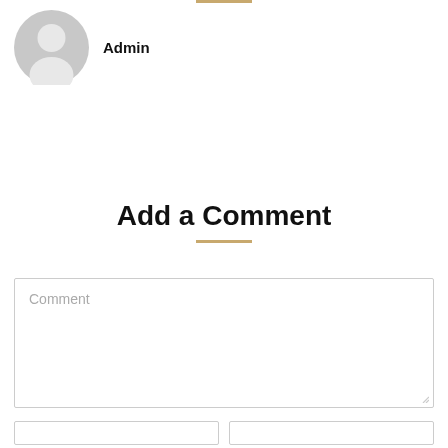[Figure (illustration): Gray default user avatar icon (circle with person silhouette)]
Admin
Add a Comment
Comment